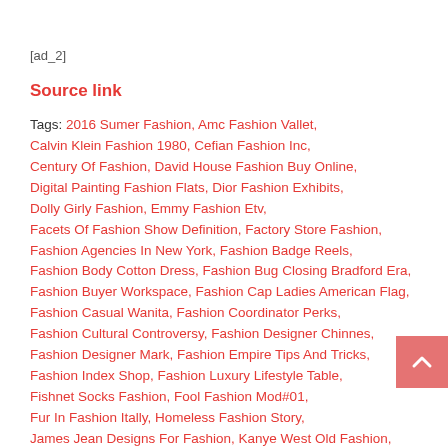[ad_2]
Source link
Tags: 2016 Sumer Fashion, Amc Fashion Vallet, Calvin Klein Fashion 1980, Cefian Fashion Inc, Century Of Fashion, David House Fashion Buy Online, Digital Painting Fashion Flats, Dior Fashion Exhibits, Dolly Girly Fashion, Emmy Fashion Etv, Facets Of Fashion Show Definition, Factory Store Fashion, Fashion Agencies In New York, Fashion Badge Reels, Fashion Body Cotton Dress, Fashion Bug Closing Bradford Era, Fashion Buyer Workspace, Fashion Cap Ladies American Flag, Fashion Casual Wanita, Fashion Coordinator Perks, Fashion Cultural Controversy, Fashion Designer Chinnes, Fashion Designer Mark, Fashion Empire Tips And Tricks, Fashion Index Shop, Fashion Luxury Lifestyle Table, Fishnet Socks Fashion, Fool Fashion Mod#01, Fur In Fashion Itally, Homeless Fashion Story, James Jean Designs For Fashion, Kanye West Old Fashion, Kids Fashion Collage, Korean Woman Fashion 2017